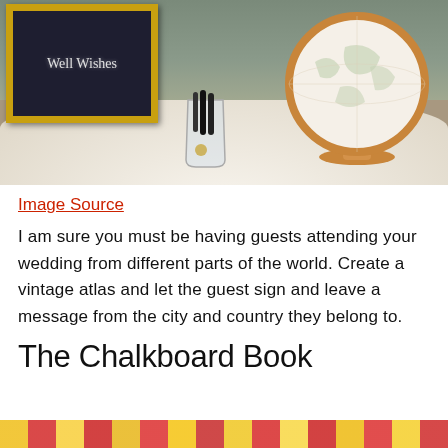[Figure (photo): A decorative wedding guest book table with a chalkboard sign reading 'Well Wishes', a gold-painted decorative globe, and glass cups with markers on a white tablecloth.]
Image Source
I am sure you must be having guests attending your wedding from different parts of the world. Create a vintage atlas and let the guest sign and leave a message from the city and country they belong to.
The Chalkboard Book
[Figure (photo): Bottom strip showing colorful floral patterned fabric or paper, partially visible.]